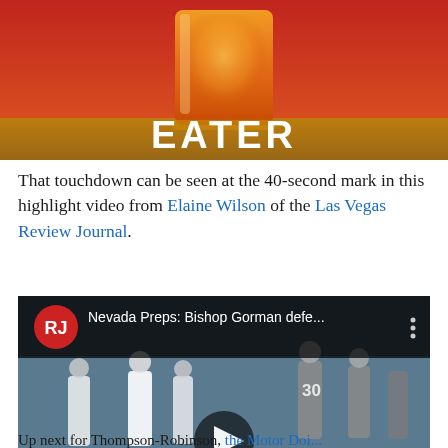[Figure (screenshot): Eater banner advertisement showing a glass of amber liquid (beer/cocktail) with the word EATER overlaid in white bold text on a red and orange background.]
That touchdown can be seen at the 40-second mark in this highlight video from Elaine Wilson of the Las Vegas Review Journal.
[Figure (screenshot): Embedded YouTube video thumbnail showing a football game. The video title reads 'Nevada Preps: Bishop Gorman defe...' with the Las Vegas Review Journal (RJ) logo in the top left corner. A play button triangle is centered on the image. Players in white and gray uniforms are visible on the field. The RJ logo watermark appears in the bottom right corner.]
Up next for Thompson-Robinson, the Motor Doi...